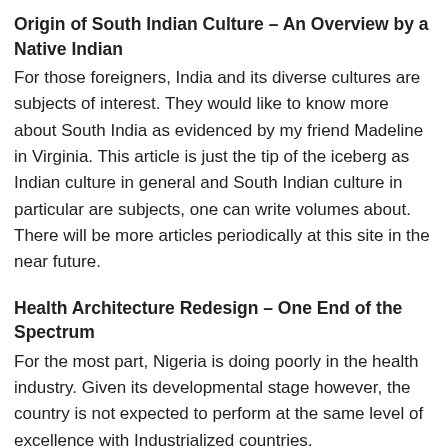Origin of South Indian Culture – An Overview by a Native Indian
For those foreigners, India and its diverse cultures are subjects of interest. They would like to know more about South India as evidenced by my friend Madeline in Virginia. This article is just the tip of the iceberg as Indian culture in general and South Indian culture in particular are subjects, one can write volumes about. There will be more articles periodically at this site in the near future.
Health Architecture Redesign – One End of the Spectrum
For the most part, Nigeria is doing poorly in the health industry. Given its developmental stage however, the country is not expected to perform at the same level of excellence with Industrialized countries.